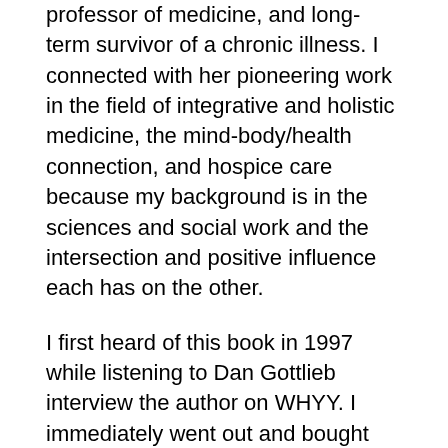professor of medicine, and long-term survivor of a chronic illness. I connected with her pioneering work in the field of integrative and holistic medicine, the mind-body/health connection, and hospice care because my background is in the sciences and social work and the intersection and positive influence each has on the other.
I first heard of this book in 1997 while listening to Dan Gottlieb interview the author on WHYY. I immediately went out and bought her book. It contains stories taken from Dr. Remen's work with people with life-threatening illnesses and training doctors. I found the wisdom in the book contained great humor as well as poignancy.
I liked that I could pick up the book and read one story at a time. And I really connected with her approach and philosophy, which is centered on the importance